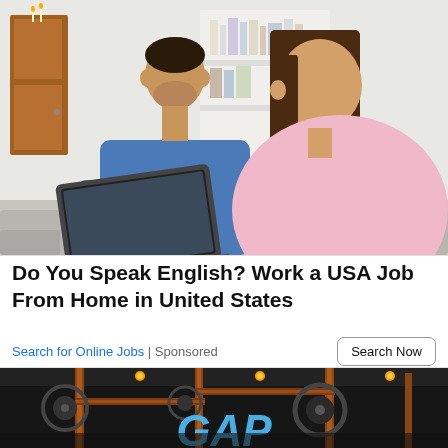[Figure (photo): A man in a blue t-shirt and a pregnant woman in a pink t-shirt sitting together on a couch looking at a laptop computer. There is a white shelving unit with books/folders behind them and a wooden door visible on the left side.]
Do You Speak English? Work a USA Job From Home in United States
Search for Online Jobs | Sponsored
Search Now
[Figure (photo): Dark industrial scene with mechanical equipment, copper pipes, and a large stylized blue text logo partially visible at the bottom reading 'GAP' or similar.]